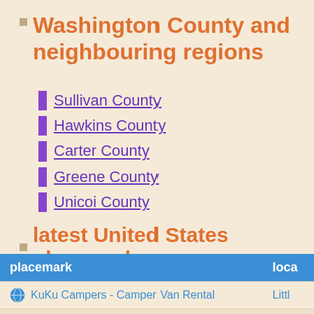Washington County and neighbouring regions
Sullivan County
Hawkins County
Carter County
Greene County
Unicoi County
latest United States placemarks
| placemark | loca |
| --- | --- |
| KuKu Campers - Camper Van Rental | Littl |
| Small Wonders Early Learning Center | Cars |
| Little Feet Daycare | Cars |
| Trulieve Northampton | Nort |
| USA AMERICAN EAGLE BONDS INSURANCE | Mes |
| All Seasons Comfort Control | Was |